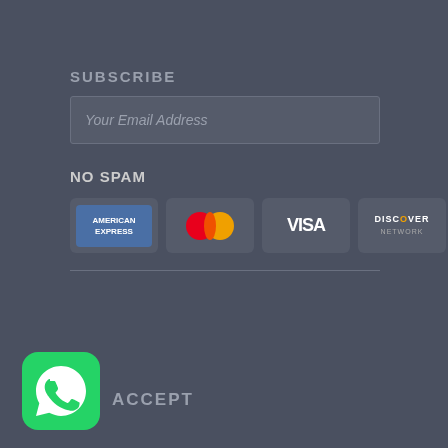SUBSCRIBE
Your Email Address
NO SPAM
[Figure (infographic): Four payment card logos: American Express, Mastercard, Visa, Discover Network]
ACCEPT
[Figure (logo): WhatsApp green rounded square icon with white phone handset]